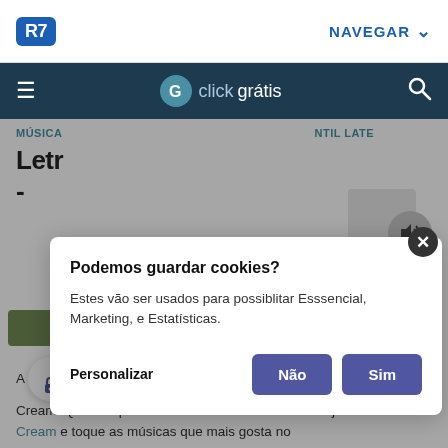R7 | NAVEGAR
clickgrátis
MÚSICA ... NTIL LATE
Letr... ate -
[Figure (screenshot): Cookie consent modal dialog with title 'Podemos guardar cookies?', body text 'Estes vão ser usados para possiblitar Esssencial, Marketing, e Estatísticas.', a Personalizar link, and two buttons Não and Sim.]
A ... Four Until Late fez muito sucesso quando foi gravado por Cream. Que tal aprender a tocar outras músicas? Veja cifras de Cream e toque as músicas que mais gosta no